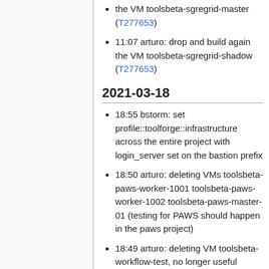the VM toolsbeta-sgregrid-master (T277653)
11:07 arturo: drop and build again the VM toolsbeta-sgregrid-shadow (T277653)
2021-03-18
18:55 bstorm: set profile::toolforge::infrastructure across the entire project with login_server set on the bastion prefix
18:50 arturo: deleting VMs toolsbeta-paws-worker-1001 toolsbeta-paws-worker-1002 toolsbeta-paws-master-01 (testing for PAWS should happen in the paws project)
18:49 arturo: deleting VM toolsbeta-workflow-test, no longer useful
18:44 arturo: replacing toolsbeta-sgegrid-master with a Debian Buster ...